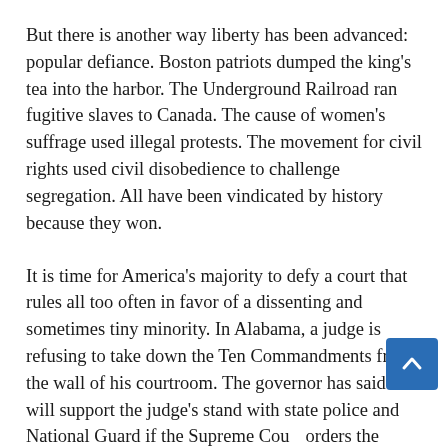But there is another way liberty has been advanced: popular defiance. Boston patriots dumped the king's tea into the harbor. The Underground Railroad ran fugitive slaves to Canada. The cause of women's suffrage used illegal protests. The movement for civil rights used civil disobedience to challenge segregation. All have been vindicated by history because they won.
It is time for America's majority to defy a court that rules all too often in favor of a dissenting and sometimes tiny minority. In Alabama, a judge is refusing to take down the Ten Commandments from the wall of his courtroom. The governor has said he will support the judge's stand with state police and National Guard if the Supreme Court orders the commandments down and Clinton comes with troops. Could be our Concord Bridge. Be there.